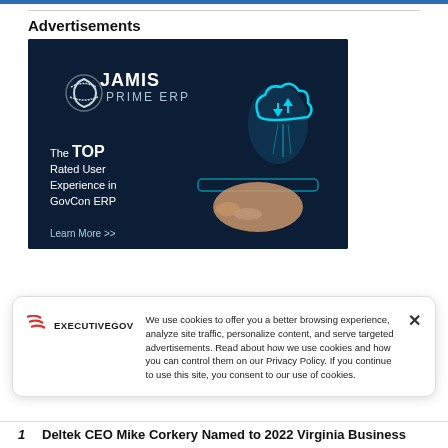Advertisements
[Figure (illustration): JAMIS Prime ERP advertisement on dark navy background showing cloud computing graphic with glowing cloud icon, a hand holding a tablet, text reading 'The TOP Rated User Experience in GovCon ERP' and 'Learn More >>']
We use cookies to offer you a better browsing experience, analyze site traffic, personalize content, and serve targeted advertisements. Read about how we use cookies and how you can control them on our Privacy Policy. If you continue to use this site, you consent to our use of cookies.
[Figure (logo): ExecutiveGov logo with red wavy lines and text EXECUTIVEGOV]
1. Deltek CEO Mike Corkery Named to 2022 Virginia Business